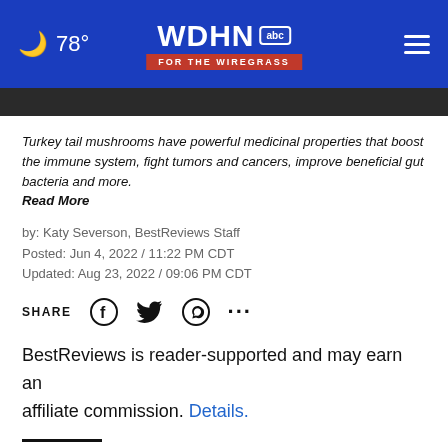🌙 78° | WDHN abc FOR THE WIREGRASS
Turkey tail mushrooms have powerful medicinal properties that boost the immune system, fight tumors and cancers, improve beneficial gut bacteria and more.
Read More
by: Katy Severson, BestReviews Staff
Posted: Jun 4, 2022 / 11:22 PM CDT
Updated: Aug 23, 2022 / 09:06 PM CDT
SHARE
BestReviews is reader-supported and may earn an affiliate commission. Details.
Health benefits of turkey tail